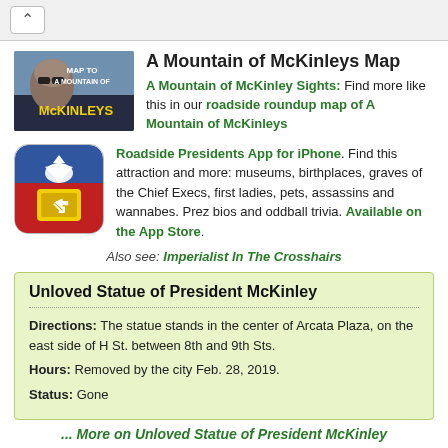^
A Mountain of McKinleys Map
A Mountain of McKinley Sights: Find more like this in our roadside roundup map of A Mountain of McKinleys
[Figure (photo): Map to A Mountain of McKinleys thumbnail image showing a man's face and text 'MAP TO A MOUNTAIN OF McKINLEYS']
[Figure (photo): Roadside Presidents App icon — colorful cartoon eagle and yellow sign on blue/red background]
Roadside Presidents App for iPhone. Find this attraction and more: museums, birthplaces, graves of the Chief Execs, first ladies, pets, assassins and wannabes. Prez bios and oddball trivia. Available on the App Store.
Also see: Imperialist In The Crosshairs
Unloved Statue of President McKinley
Directions: The statue stands in the center of Arcata Plaza, on the east side of H St. between 8th and 9th Sts.
Hours: Removed by the city Feb. 28, 2019.
Status: Gone
... More on Unloved Statue of President McKinley